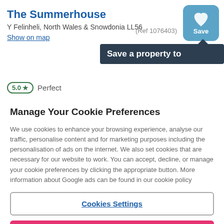The Summerhouse
Y Felinheli, North Wales & Snowdonia LL56
Show on map
(Ref 1076403)
Save
Save a property to
5.0 ★  Perfect
Manage Your Cookie Preferences
We use cookies to enhance your browsing experience, analyse our traffic, personalise content and for marketing purposes including the personalisation of ads on the internet. We also set cookies that are necessary for our website to work. You can accept, decline, or manage your cookie preferences by clicking the appropriate button. More information about Google ads can be found in our cookie policy
Cookies Settings
Reject all cookies